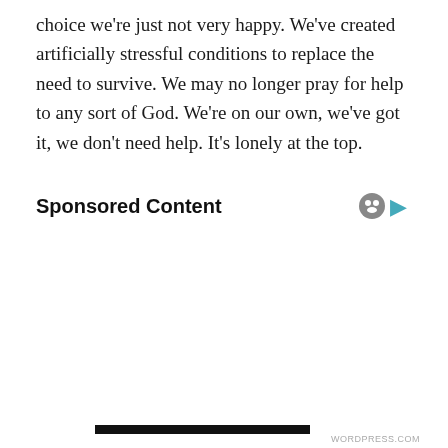choice we're just not very happy. We've created artificially stressful conditions to replace the need to survive. We may no longer pray for help to any sort of God. We're on our own, we've got it, we don't need help. It's lonely at the top.
Sponsored Content
Privacy & Cookies: This site uses cookies. By continuing to use this website, you agree to their use.
To find out more, including how to control cookies, see here: Cookie Policy
Close and accept